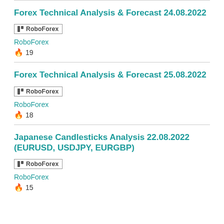Forex Technical Analysis & Forecast 24.08.2022
RoboForex
RoboForex
🔥 19
Forex Technical Analysis & Forecast 25.08.2022
RoboForex
RoboForex
🔥 18
Japanese Candlesticks Analysis 22.08.2022 (EURUSD, USDJPY, EURGBP)
RoboForex
RoboForex
🔥 15